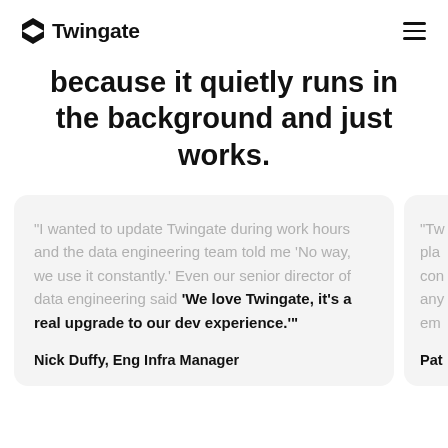Twingate
because it quietly runs in the background and just works.
"I wanted to update Twingate during work hours and the data engineering team told me 'No way, we use it constantly.' Even our senior director of data engineering said 'We love Twingate, it's a real upgrade to our dev experience.'"
Nick Duffy, Eng Infra Manager
"Tw pla con any em
Pat